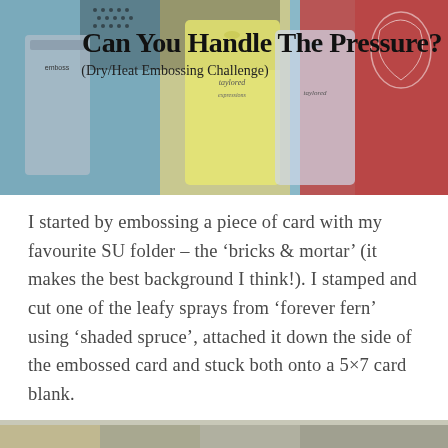[Figure (photo): Photo of craft/embossing supplies including embossing folders, powders, and packaging from brands like Taylored Expressions, on a mixed blue-green and red craft background. Title text overlaid: 'Can You Handle The Pressure?' with subtitle '(Dry/Heat Embossing Challenge)']
I started by embossing a piece of card with my favourite SU folder – the ‘bricks & mortar’ (it makes the best background I think!). I stamped and cut one of the leafy sprays from ‘forever fern’ using ‘shaded spruce’, attached it down the side of the embossed card and stuck both onto a 5×7 card blank.
[Figure (photo): Partial view of a crafted card at the bottom of the page, partially cut off]